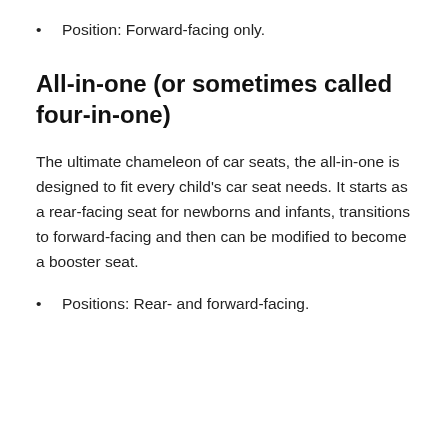Position: Forward-facing only.
All-in-one (or sometimes called four-in-one)
The ultimate chameleon of car seats, the all-in-one is designed to fit every child's car seat needs. It starts as a rear-facing seat for newborns and infants, transitions to forward-facing and then can be modified to become a booster seat.
Positions: Rear- and forward-facing.